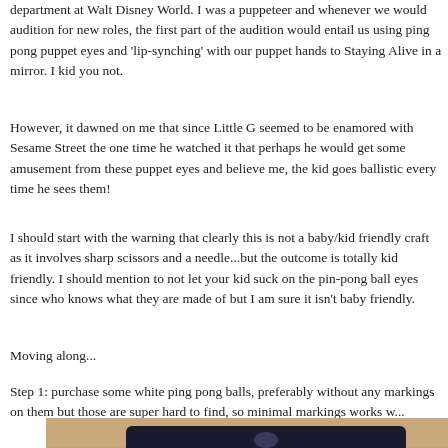department at Walt Disney World. I was a puppeteer and whenever we would audition for new roles, the first part of the audition would entail us using ping pong puppet eyes and 'lip-synching' with our puppet hands to Staying Alive in a mirror. I kid you not.
However, it dawned on me that since Little G seemed to be enamored with Sesame Street the one time he watched it that perhaps he would get some amusement from these puppet eyes and believe me, the kid goes ballistic every time he sees them!
I should start with the warning that clearly this is not a baby/kid friendly craft as it involves sharp scissors and a needle...but the outcome is totally kid friendly. I should mention to not let your kid suck on the pin-pong ball eyes since who knows what they are made of but I am sure it isn't baby friendly.
Moving along...
Step 1: purchase some white ping pong balls, preferably without any markings on them but those are super hard to find, so minimal markings works well.
[Figure (photo): Photo of a package of Sportcraft 40mm table tennis balls on a wooden surface background]